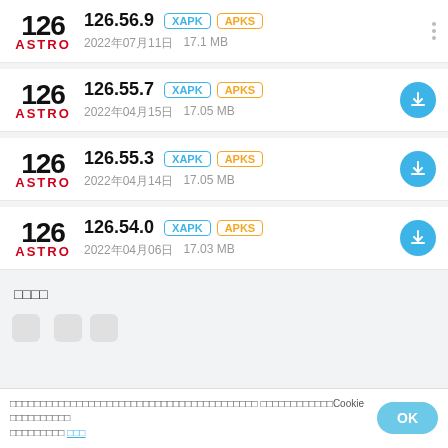126.56.9 XAPK APKS 2022年07月11日 17.1 MB
126.55.7 XAPK APKS 2022年04月15日 17.05 MB
126.55.3 XAPK APKS 2022年04月14日 17.05 MB
126.54.0 XAPK APKS 2022年04月06日 17.03 MB
□□□□
□□□□□□□□□□□□□□□□□□□□□□□□□□□□□□□□□□□□□□□□□ □□□□□□□□□□□□Cookie □□□□□□□□□□ □□□□□□□□□ □□□